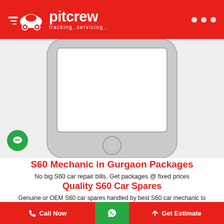pitcrew tracking..servicing..
[Figure (illustration): Smartphone mockup showing white phone with blank white screen and home button, on light gray background. Green chat bubble icon overlays bottom-left of phone.]
S60 Mechanic in Gurgaon Packages
No big S60 car repair bills. Get packages @ fixed prices
Quality S60 Car Spares
Genuine or OEM S60 car spares handled by best S60 car mechanic to deliver quality at affordable prices
Doorstep S60 Mechanic in Gurgaon
Call Now   [WhatsApp]   Get Estimate